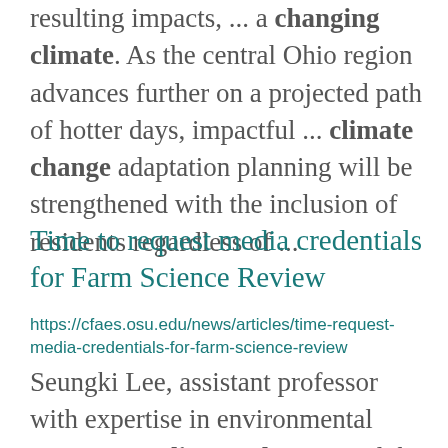resulting impacts, ... a changing climate. As the central Ohio region advances further on a projected path of hotter days, impactful ... climate change adaptation planning will be strengthened with the inclusion of residents regardless of ...
Time to request media credentials for Farm Science Review
https://cfaes.osu.edu/news/articles/time-request-media-credentials-for-farm-science-review
Seungki Lee, assistant professor with expertise in environmental economics, climate change, and the impact ...